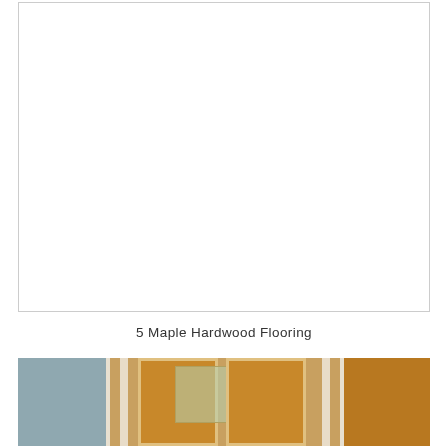[Figure (photo): White/blank rectangular image box with a thin border, representing a maple hardwood flooring photo placeholder]
5 Maple Hardwood Flooring
[Figure (photo): Interior photo showing French doors with wooden frames and glass panels, flanked by gray wall on left and wooden cabinet/blind on right]